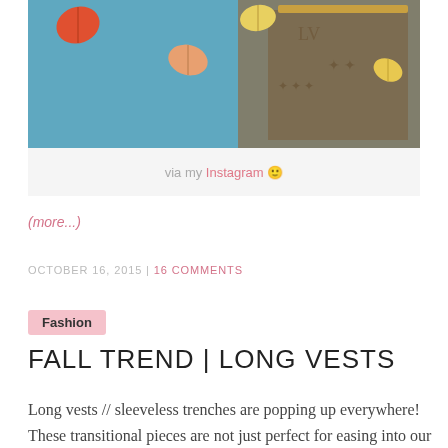[Figure (photo): Photo of autumn leaves and a Louis Vuitton bag on a blue glittery surface]
via my Instagram 🙂
(more...)
OCTOBER 16, 2015 | 16 COMMENTS
Fashion
FALL TREND | LONG VESTS
Long vests // sleeveless trenches are popping up everywhere! These transitional pieces are not just perfect for easing into our Fall wardrobes, they're stylish, multi-functional, and simple